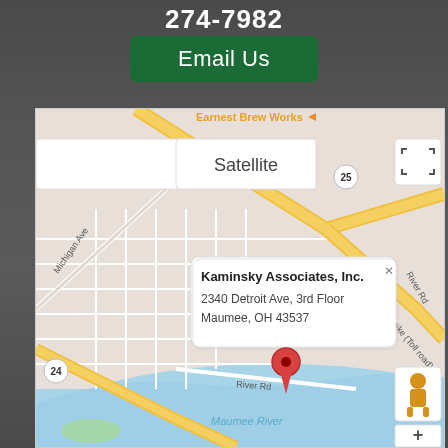274-7982
Email Us
[Figure (map): Google Maps screenshot showing Kaminsky Associates, Inc. at 2340 Detroit Ave, 3rd Floor, Maumee, OH 43537. Map shows street layout around Ohio Turnpike (Toll road), Michigan Ave, River Rd, route 25, route 24, and Maumee River. A red location pin marks the office. Map controls include Satellite view toggle and fullscreen button. A Street View pegman icon appears at bottom right.]